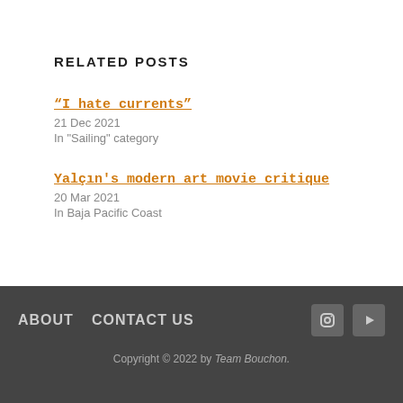RELATED POSTS
“I hate currents”
21 Dec 2021
In "Sailing" category
Yalçın's modern art movie critique
20 Mar 2021
In Baja Pacific Coast
ABOUT   CONTACT US   Copyright © 2022 by Team Bouchon.